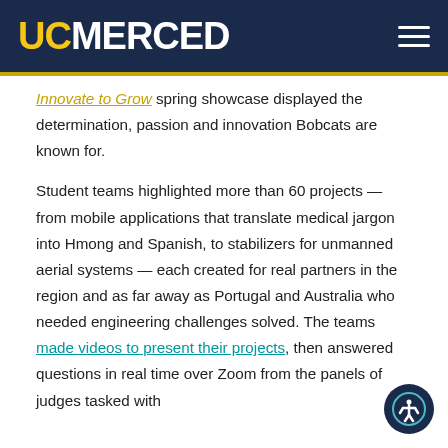UC MERCED
Innovate to Grow spring showcase displayed the determination, passion and innovation Bobcats are known for.
Student teams highlighted more than 60 projects — from mobile applications that translate medical jargon into Hmong and Spanish, to stabilizers for unmanned aerial systems — each created for real partners in the region and as far away as Portugal and Australia who needed engineering challenges solved. The teams made videos to present their projects, then answered questions in real time over Zoom from the panels of judges tasked with